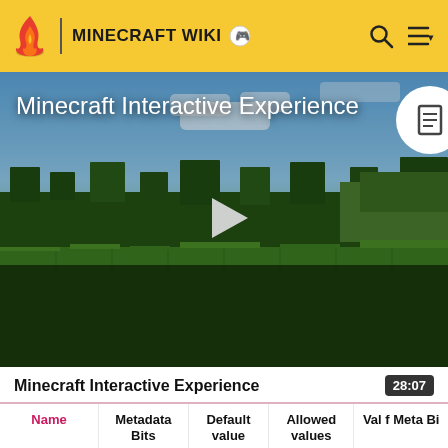MINECRAFT WIKI
[Figure (screenshot): Minecraft Interactive Experience video thumbnail showing a Minecraft landscape with grass, trees, and blue sky. A white play button triangle is centered on the image. The title 'Minecraft Interactive Experience' appears in white text at the top left.]
Minecraft Interactive Experience  28:07
| Name | Metadata Bits | Default value | Allowed values | Values for Meta Bits |
| --- | --- | --- | --- | --- |
|  |  |  |  |  |